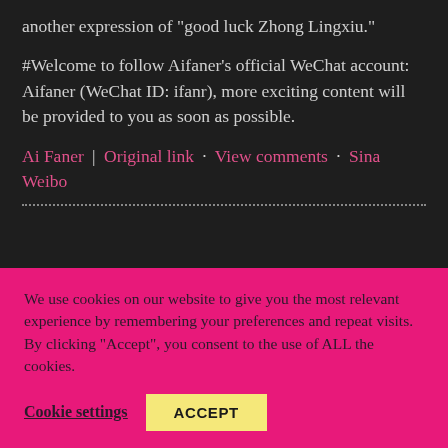another expression of "good luck Zhong Lingxiu."
#Welcome to follow Aifaner's official WeChat account: Aifaner (WeChat ID: ifanr), more exciting content will be provided to you as soon as possible.
Ai Faner | Original link · View comments · Sina Weibo
We use cookies on our website to give you the most relevant experience by remembering your preferences and repeat visits. By clicking "Accept", you consent to the use of ALL the cookies.
Cookie settings   ACCEPT